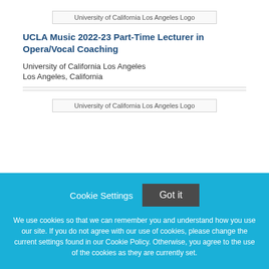[Figure (logo): University of California Los Angeles Logo (placeholder image)]
UCLA Music 2022-23 Part-Time Lecturer in Opera/Vocal Coaching
University of California Los Angeles
Los Angeles, California
[Figure (logo): University of California Los Angeles Logo (placeholder image)]
Cookie Settings  Got it
We use cookies so that we can remember you and understand how you use our site. If you do not agree with our use of cookies, please change the current settings found in our Cookie Policy. Otherwise, you agree to the use of the cookies as they are currently set.